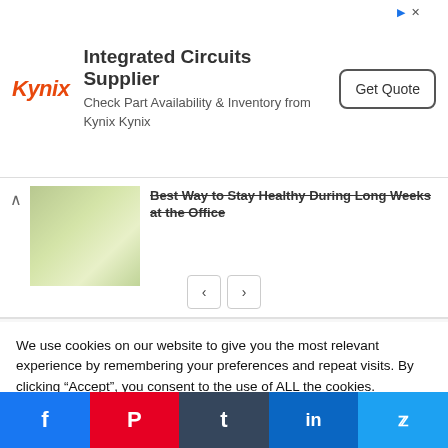[Figure (other): Kynix Integrated Circuits Supplier advertisement banner with Kynix logo, ad title, description, and Get Quote button]
Best Way to Stay Healthy During Long Weeks at the Office
[Figure (photo): Thumbnail image of a person in a bright room with plants]
FOLLOW US ON INSTAGRAM
We use cookies on our website to give you the most relevant experience by remembering your preferences and repeat visits. By clicking “Accept”, you consent to the use of ALL the cookies.
Do not sell my personal information.
[Figure (other): Social share buttons: Facebook, Pinterest, Tumblr, LinkedIn, Twitter]